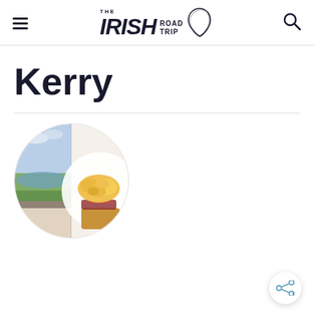THE IRISH ROAD TRIP
Kerry
[Figure (photo): Circular split photo: left half shows a scenic Irish landscape with water and fields through a window, right half shows a plate of scrambled eggs with bacon on toast.]
[Figure (illustration): Share/social button icon in bottom right corner]